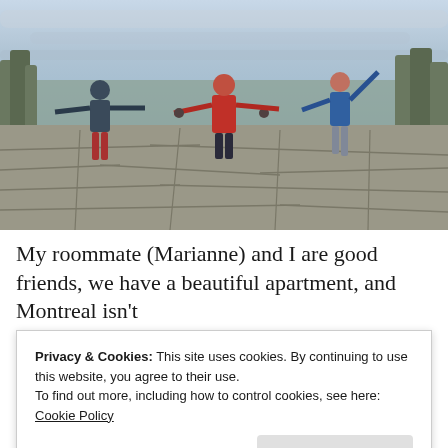[Figure (photo): Three people standing on a stone terrace/lookout with arms outstretched, with a panoramic view of a city (Montreal) in the background under cloudy skies. The person on the left wears a dark jacket and red pants, the center person wears a red coat, and the right person wears a blue vest. Bare trees and city skyline visible behind them.]
My roommate (Marianne) and I are good friends, we have a beautiful apartment, and Montreal isn't
Privacy & Cookies: This site uses cookies. By continuing to use this website, you agree to their use. To find out more, including how to control cookies, see here: Cookie Policy
meals and activities that Marianne and I do